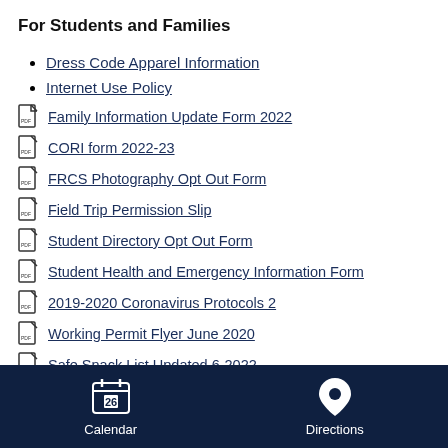For Students and Families
Dress Code Apparel Information
Internet Use Policy
Family Information Update Form 2022
CORI form 2022-23
FRCS Photography Opt Out Form
Field Trip Permission Slip
Student Directory Opt Out Form
Student Health and Emergency Information Form
2019-2020 Coronavirus Protocols 2
Working Permit Flyer June 2020
Safe Snack List Updated 6-2022
Calendar   Directions